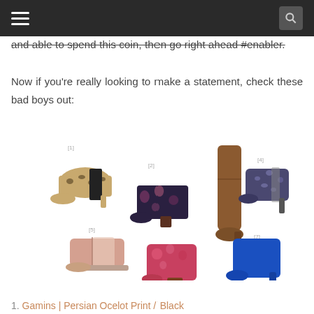and able to spend this coin, then go right ahead #enabler.
Now if you're really looking to make a statement, check these bad boys out:
[Figure (photo): A collage of 7 numbered shoes/boots: [1] leopard print ankle boot, [2] dark floral print ankle boot, [3] tall brown riding boot, [4] glittery dark ankle boot with heel, [5] pink/rose flat ankle boot, [6] pink floral ankle boot with block heel, [7] cobalt blue ankle boot with heel]
1. Gamins | Persian Ocelot Print / Black